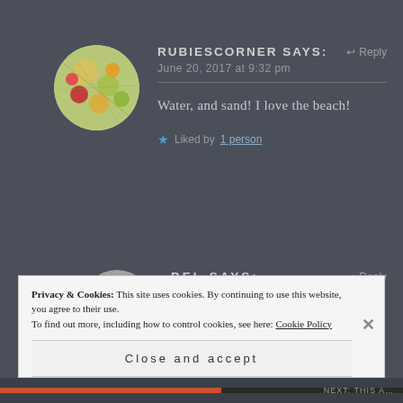[Figure (photo): Circular avatar photo showing colorful floral embroidery or textile art with reds, yellows, greens]
RUBIESCORNER says:
June 20, 2017 at 9:32 pm
Water, and sand! I love the beach!
★ Liked by 1 person
[Figure (photo): Circular avatar photo showing a person wearing a white hat, black and white image]
BEL says:
June 20, 2017 at 9:35 pm
Privacy & Cookies: This site uses cookies. By continuing to use this website, you agree to their use.
To find out more, including how to control cookies, see here: Cookie Policy
Close and accept